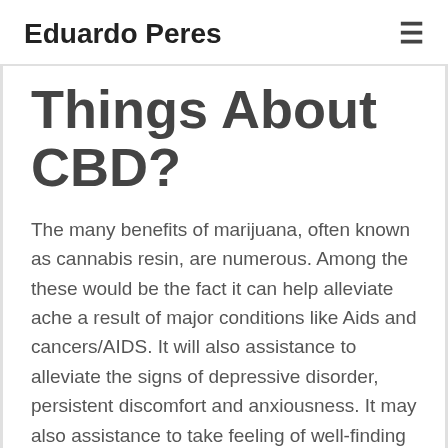Eduardo Peres
Things About CBD?
The many benefits of marijuana, often known as cannabis resin, are numerous. Among the these would be the fact it can help alleviate ache a result of major conditions like Aids and cancers/AIDS. It will also assistance to alleviate the signs of depressive disorder, persistent discomfort and anxiousness. It may also assistance to take feeling of well-finding yourself in those that are considering chemotherapy. Moreover, it has been observed